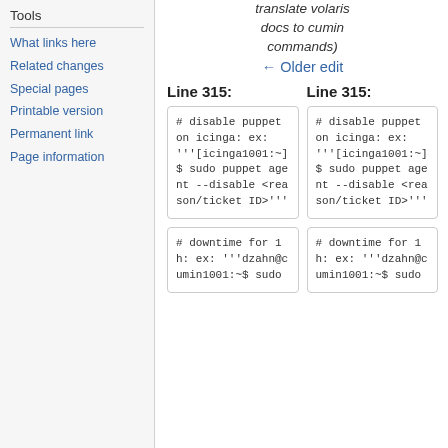Tools
What links here
Related changes
Special pages
Printable version
Permanent link
Page information
translate volaris docs to cumin commands)
← Older edit
Line 315:
Line 315:
# disable puppet on icinga: ex: '''[icinga1001:~] $ sudo puppet agent --disable <reason/ticket ID>'''
# disable puppet on icinga: ex: '''[icinga1001:~] $ sudo puppet agent --disable <reason/ticket ID>'''
# downtime for 1h: ex: '''dzahn@cumin1001:~$ sudo
# downtime for 1h: ex: '''dzahn@cumin1001:~$ sudo